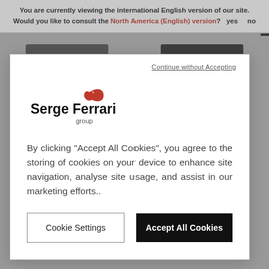You are currently viewing the international English version of our site. Would you like to consult the North America (English) version?  yes   no
[Figure (photo): Two fabric/material swatches in charcoal and black colors shown on a grey background, partially hidden behind modal dialog]
Continue without Accepting
[Figure (logo): Serge Ferrari group logo — black bold text with red stylized feather/flame above]
By clicking “Accept All Cookies”, you agree to the storing of cookies on your device to enhance site navigation, analyse site usage, and assist in our marketing efforts..
Cookie Settings
Accept All Cookies
charcoal
F4128-20166
black
F4128-00002